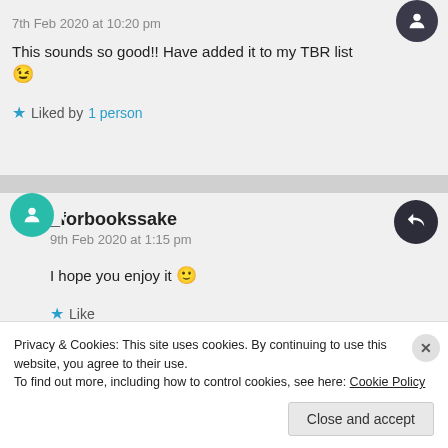7th Feb 2020 at 10:20 pm
This sounds so good!! Have added it to my TBR list 😉
★ Liked by 1 person
_forbookssake
9th Feb 2020 at 1:15 pm
I hope you enjoy it 🙂
★ Like
Privacy & Cookies: This site uses cookies. By continuing to use this website, you agree to their use.
To find out more, including how to control cookies, see here: Cookie Policy
Close and accept